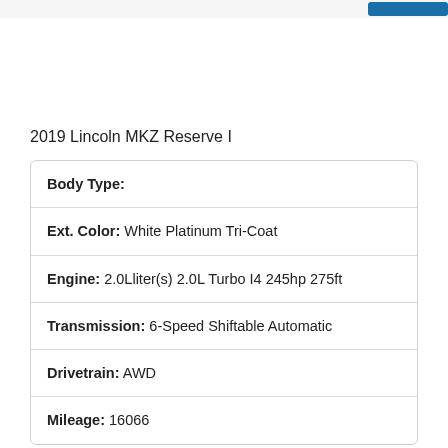2019 Lincoln MKZ Reserve I
| Body Type: |  |
| Ext. Color: | White Platinum Tri-Coat |
| Engine: | 2.0Lliter(s) 2.0L Turbo I4 245hp 275ft |
| Transmission: | 6-Speed Shiftable Automatic |
| Drivetrain: | AWD |
| Mileage: | 16066 |